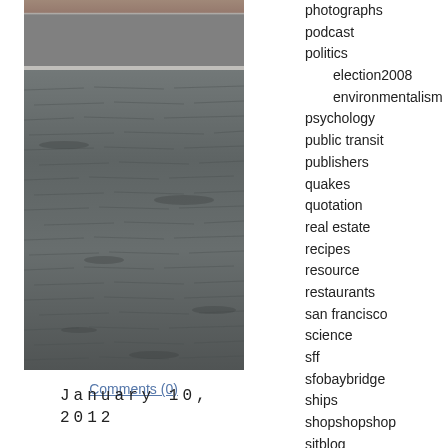[Figure (photo): Photograph of ocean water surface, showing dark choppy waves with a brownish-gray sky or land at the top]
Comments (0)
January 10, 2012
photographs
podcast
politics
election2008
environmentalism
psychology
public transit
publishers
quakes
quotation
real estate
recipes
resource
restaurants
san francisco
science
sff
sfobaybridge
ships
shopshopshop
sjtblog
social networking
spamfraudcrooks
sports
stats
technology
timewaster
toomuchtimeontheirhands
travel
uncategorized
url
video
weather